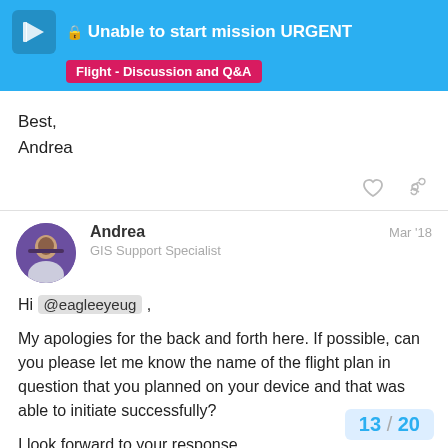🔒 Unable to start mission URGENT | Flight - Discussion and Q&A
Best,
Andrea
Andrea · GIS Support Specialist · Mar '18
Hi @eagleeyeug ,

My apologies for the back and forth here. If possible, can you please let me know the name of the flight plan in question that you planned on your device and that was able to initiate successfully?

I look forward to your response.

Best,
Andrea
13 / 20